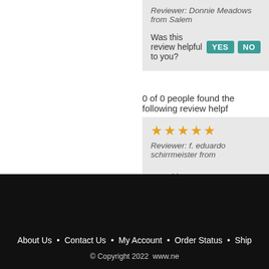Reviewer: Donnie Meadows from Salem
Was this review helpful to you? YES NO
0 of 0 people found the following review helpf
★★★★★
Reviewer: f. eduardo schirrmeister from
Was this review helpful to you? YES NO
Browse for more products in the same cat
Tattoo Needles & Cartridges > NEEDLE CAR
Tattoo Needles & Cartridges > NEEDLE CAR
Magnum - Long Taper
About Us • Contact Us • My Account • Order Status • Ship
© Copyright 2022  www.ne